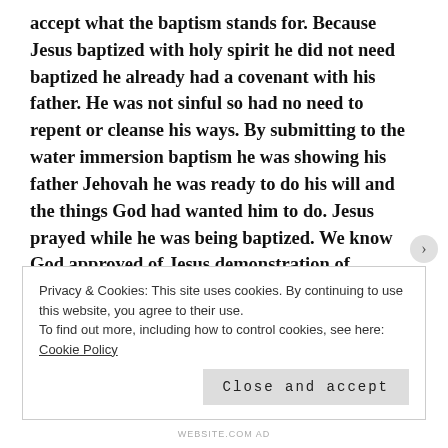accept what the baptism stands for. Because Jesus baptized with holy spirit he did not need baptized he already had a covenant with his father. He was not sinful so had no need to repent or cleanse his ways. By submitting to the water immersion baptism he was showing his father Jehovah he was ready to do his will and the things God had wanted him to do. Jesus prayed while he was being baptized. We know God approved of Jesus demonstration of obedience and willingness to do God’s will when he came up from the water God stated “You are my son the beloved; I have
Privacy & Cookies: This site uses cookies. By continuing to use this website, you agree to their use.
To find out more, including how to control cookies, see here: Cookie Policy
Close and accept
WEBSITE.COM AD